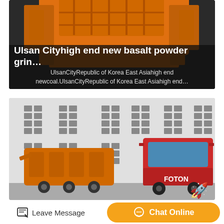[Figure (photo): Orange industrial basalt powder grinding machine on dark background with text overlay]
Ulsan Cityhigh end new basalt powder grin…
UlsanCityRepublic of Korea East Asiahigh end newcoal.UlsanCityRepublic of Korea East Asiahigh end…
[Figure (photo): Orange industrial mobile crusher units and a red FOTON truck parked in front of a building with grid-pattern facade]
Leave Message
Chat Online